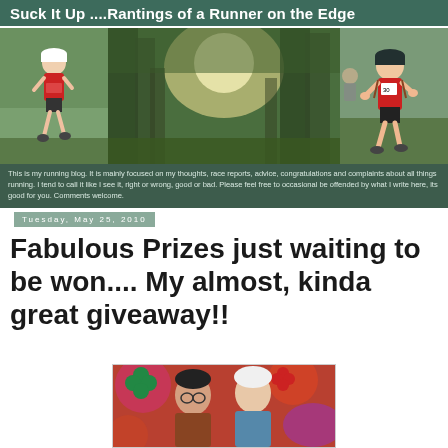Suck It Up ....Rantings of a Runner on the Edge
[Figure (photo): Blog header banner with three photos: a female runner in red, a forest scene with sunlight, and a male runner in red race gear]
This is my running blog. It is mainly focused on my thoughts, race reports, advice, congratulations and complaints about all things running. I tend to call it like I see it, right or wrong, good or bad. Please feel free to occasional be offended by what I write here, its good for you. Comments welcome.
Tuesday, May 25, 2010
Fabulous Prizes just waiting to be won.... My almost, kinda great giveaway!!
[Figure (photo): Two people in a colorful setting, one older man with white hair and a younger person with glasses, colorful background with flowers]